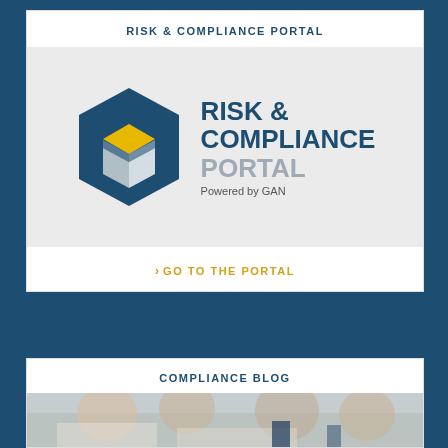RISK & COMPLIANCE PORTAL
[Figure (logo): Risk & Compliance Portal logo with hexagonal cube icon in navy/yellow/silver and text 'RISK & COMPLIANCE PORTAL Powered by GAN' on grey background]
> GO TO THE PORTAL
COMPLIANCE BLOG
[Figure (photo): Partial photo of business people at a meeting/desk, bottom of page]